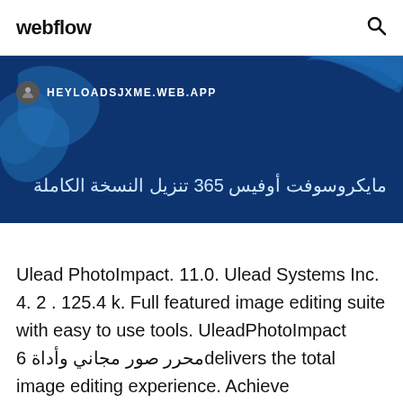webflow
[Figure (screenshot): A blue world-map themed banner showing the URL HEYLOADSJXME.WEB.APP with a user avatar icon, and Arabic text reading: مايكروسوفت أوفيس 365 تنزيل النسخة الكاملة]
Ulead PhotoImpact. 11.0. Ulead Systems Inc. 4. 2 . 125.4 k. Full featured image editing suite with easy to use tools. UleadPhotoImpact محرر صور مجاني وأداة 6delivers the total image editing experience. Achieve professional results in less time and effort with instant